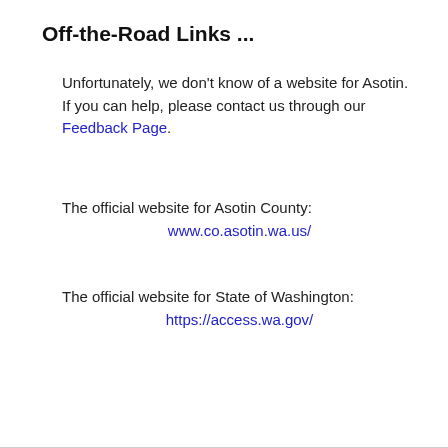Off-the-Road Links ...
Unfortunately, we don't know of a website for Asotin. If you can help, please contact us through our Feedback Page.
The official website for Asotin County:
www.co.asotin.wa.us/
The official website for State of Washington:
https://access.wa.gov/